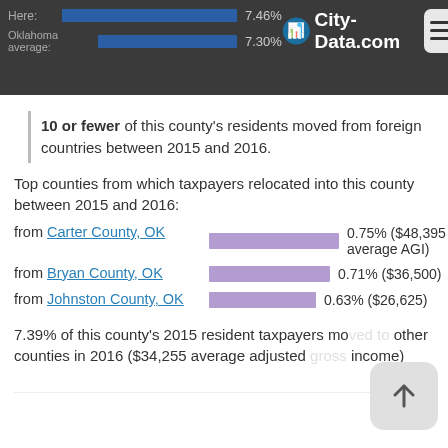City-Data.com | Here: 7.46% | Oklahoma average: 7.30%
10 or fewer of this county's residents moved from foreign countries between 2015 and 2016.
Top counties from which taxpayers relocated into this county between 2015 and 2016:
from Carter County, OK  0.75% ($48,395 average AGI)
from Bryan County, OK  0.71% ($36,500)
from Johnston County, OK  0.63% ($26,625)
7.39% of this county's 2015 resident taxpayers moved to other counties in 2016 ($34,255 average adjusted gross income)